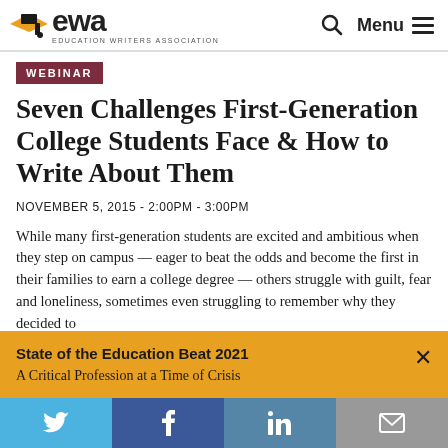EWA — EDUCATION WRITERS ASSOCIATION
WEBINAR
Seven Challenges First-Generation College Students Face & How to Write About Them
NOVEMBER 5, 2015 - 2:00PM - 3:00PM
While many first-generation students are excited and ambitious when they step on campus — eager to beat the odds and become the first in their families to earn a college degree — others struggle with guilt, fear and loneliness, sometimes even struggling to remember why they decided to
State of the Education Beat 2021
A Critical Profession at a Time of Crisis
Twitter | Facebook | LinkedIn | Email